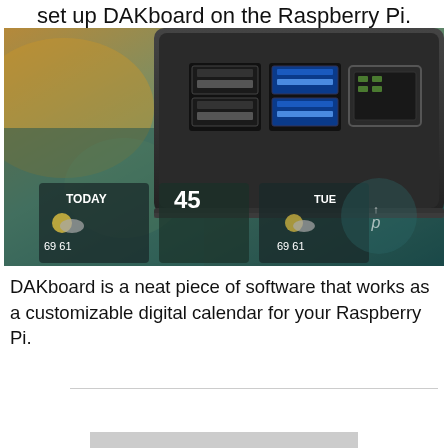set up DAKboard on the Raspberry Pi.
[Figure (photo): Photo of a Raspberry Pi in a black case showing USB ports and Ethernet port, overlaid with a DAKboard weather/calendar display showing TODAY with temperature 69 61 and TUE with temperature 69 61, with a 'Up' logo watermark in the bottom right corner.]
DAKboard is a neat piece of software that works as a customizable digital calendar for your Raspberry Pi.
LATEST VIDEOS